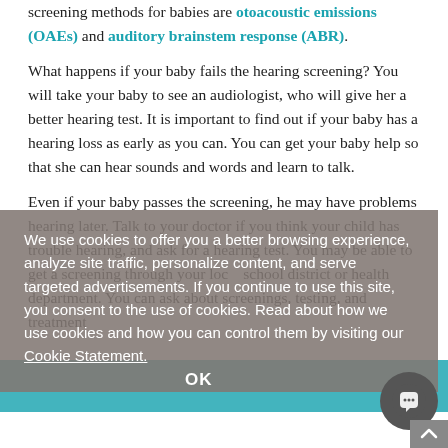screening methods for babies are otoacoustic emissions (OAEs) and auditory brainstem response (ABR).
What happens if your baby fails the hearing screening? You will take your baby to see an audiologist, who will give her a better hearing test. It is important to find out if your baby has a hearing loss as early as you can. You can get your baby help so that she can hear sounds and words and learn to talk.
Even if your baby passes the screening, he may have problems hearing later. Talk to your doctor if you think your child has trouble hearing, and ask for a hearing test. You may be able to get a screening through your local school district or health department. You can ask about screenings, testing, and treatment
We use cookies to offer you a better browsing experience, analyze site traffic, personalize content, and serve targeted advertisements. If you continue to use this site, you consent to the use of cookies. Read about how we use cookies and how you can control them by visiting our Cookie Statement.